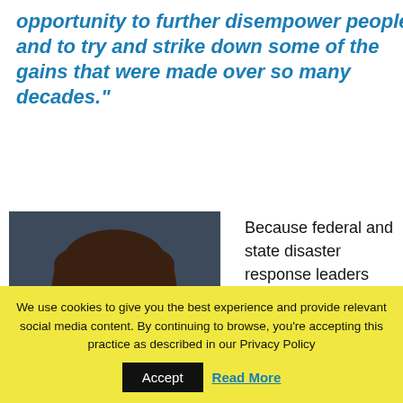opportunity to further disempower people and to try and strike down some of the gains that were made over so many decades."
[Figure (photo): Headshot portrait of a woman with brown hair and glasses against a dark gray background]
Because federal and state disaster response leaders
We use cookies to give you the best experience and provide relevant social media content. By continuing to browse, you're accepting this practice as described in our Privacy Policy
Accept   Read More